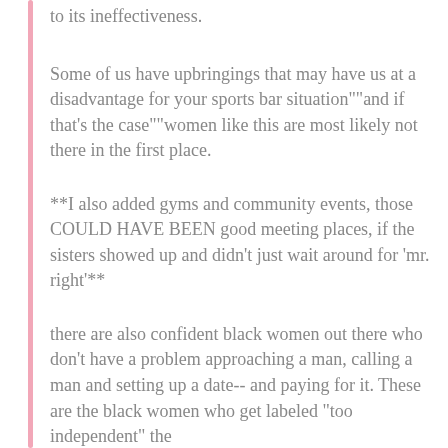to its ineffectiveness.
Some of us have upbringings that may have us at a disadvantage for your sports bar situation""and if that's the case""women like this are most likely not there in the first place.
**I also added gyms and community events, those COULD HAVE BEEN good meeting places, if the sisters showed up and didn't just wait around for 'mr. right'**
there are also confident black women out there who don't have a problem approaching a man, calling a man and setting up a date-- and paying for it. These are the black women who get labeled "too independent" the